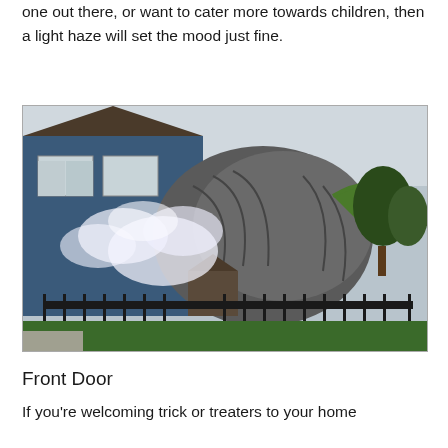one out there, or want to cater more towards children, then a light haze will set the mood just fine.
[Figure (photo): A Halloween-decorated house with a large custom sculptural installation resembling a monster, with white fog/smoke effects, surrounded by a black iron fence. The blue house behind has various Halloween decorations on the roof.]
Front Door
If you're welcoming trick or treaters to your home